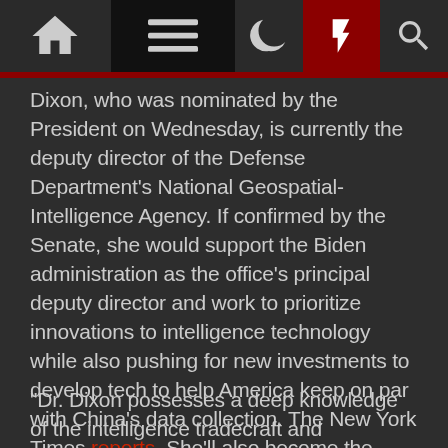[Navigation bar with home, menu, dark mode, lightning bolt, and search icons]
Dixon, who was nominated by the President on Wednesday, is currently the deputy director of the Defense Department's National Geospatial-Intelligence Agency. If confirmed by the Senate, she would support the Biden administration as the office's principal deputy director and work to prioritize innovations to intelligence technology while also pushing for new investments to develop tech to help America keep on par with China's data collection. The New York Times reports. She'll also become the highest-ranking Black woman in the intelligence field.
"Dr. Dixon possesses a deep knowledge of the intelligence tradecraft and understands the critical work intelligence professionals perform every day," Avril D. Haines, the director of national intelligence,